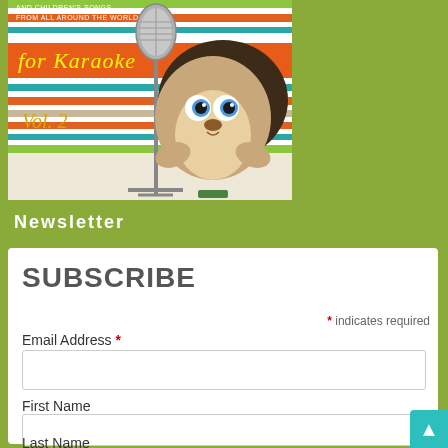[Figure (illustration): Album cover for a Karaoke children's songs collection Vol. 2, featuring a cartoon hedgehog and a vintage microphone against colorful horizontal stripes (orange, teal, brown, white, green). Text reads 'AND CHILDREN'S SONGS FROM ALL AROUND THE WORLD for Karaoke Vol. 2']
Newsletter
SUBSCRIBE
* indicates required
Email Address *
First Name
Last Name